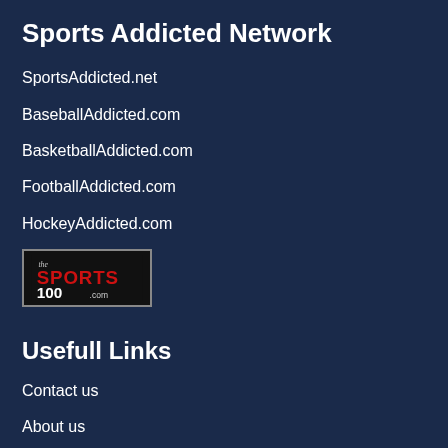Sports Addicted Network
SportsAddicted.net
BaseballAddicted.com
BasketballAddicted.com
FootballAddicted.com
HockeyAddicted.com
[Figure (logo): The Sports 100 .com logo — red block letters on black background with small cursive 'the' above]
Usefull Links
Contact us
About us
Amazon Disclaimer